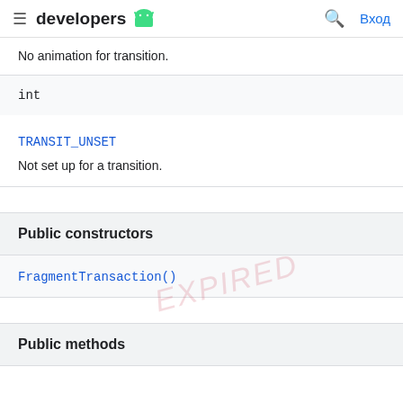developers | Вход
No animation for transition.
int
TRANSIT_UNSET
Not set up for a transition.
Public constructors
FragmentTransaction()
Public methods